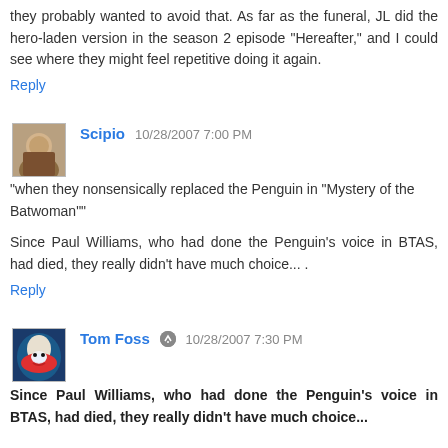they probably wanted to avoid that. As far as the funeral, JL did the hero-laden version in the season 2 episode "Hereafter," and I could see where they might feel repetitive doing it again.
Reply
Scipio  10/28/2007 7:00 PM
"when they nonsensically replaced the Penguin in "Mystery of the Batwoman""
Since Paul Williams, who had done the Penguin's voice in BTAS, had died, they really didn't have much choice... .
Reply
Tom Foss  10/28/2007 7:30 PM
Since Paul Williams, who had done the Penguin's voice in BTAS, had died, they really didn't have much choice...